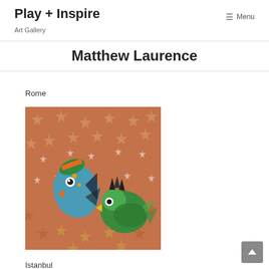Play + Inspire
Art Gallery
Matthew Laurence
Rome
[Figure (illustration): Colorful artwork depicting two stylized bird/fish-like creatures with vibrant colors (blue, green, orange) against a busy background of star and snowflake patterns in red, brown, gold, and white tones.]
Istanbul